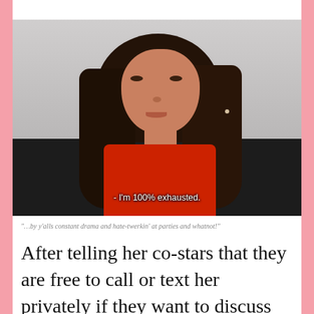[Figure (screenshot): Video screenshot of a young woman with long brown wavy hair wearing a red top, sitting on a dark sofa. Subtitle text reads: - I'm 100% exhausted.]
"…by y'alls constant drama and hate-twerkin' at parties and whatnot!"
After telling her co-stars that they are free to call or text her privately if they want to discuss her statement in detail